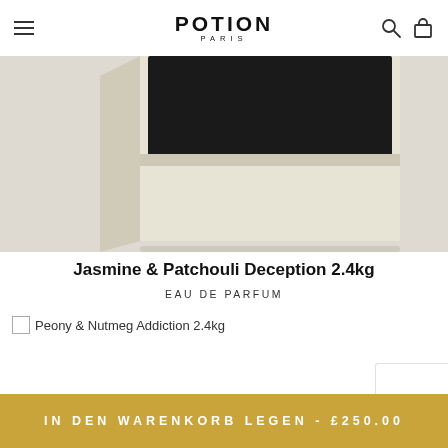POTION PARIS
[Figure (photo): Close-up of a cream/beige luxury perfume box with a black lid, shot on a light grey background]
Jasmine & Patchouli Deception 2.4kg
EAU DE PARFUM
Peony & Nutmeg Addiction 2.4kg
IN DEN WARENKORB LEGEN - £250.00